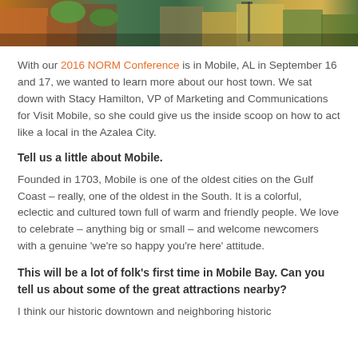[Figure (photo): Street scene photo strip showing colorful buildings, trees, and outdoor seating in what appears to be a downtown area]
With our 2016 NORM Conference is in Mobile, AL in September 16 and 17, we wanted to learn more about our host town. We sat down with Stacy Hamilton, VP of Marketing and Communications for Visit Mobile, so she could give us the inside scoop on how to act like a local in the Azalea City.
Tell us a little about Mobile.
Founded in 1703, Mobile is one of the oldest cities on the Gulf Coast – really, one of the oldest in the South. It is a colorful, eclectic and cultured town full of warm and friendly people. We love to celebrate – anything big or small – and welcome newcomers with a genuine 'we're so happy you're here' attitude.
This will be a lot of folk's first time in Mobile Bay. Can you tell us about some of the great attractions nearby?
I think our historic downtown and neighboring historic